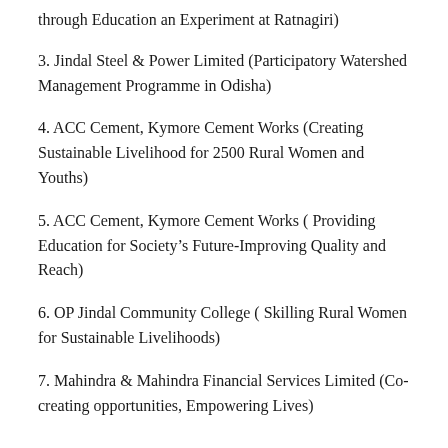through Education an Experiment at Ratnagiri)
3. Jindal Steel & Power Limited (Participatory Watershed Management Programme in Odisha)
4. ACC Cement, Kymore Cement Works (Creating Sustainable Livelihood for 2500 Rural Women and Youths)
5. ACC Cement, Kymore Cement Works ( Providing Education for Society’s Future-Improving Quality and Reach)
6. OP Jindal Community College ( Skilling Rural Women for Sustainable Livelihoods)
7. Mahindra & Mahindra Financial Services Limited (Co-creating opportunities, Empowering Lives)